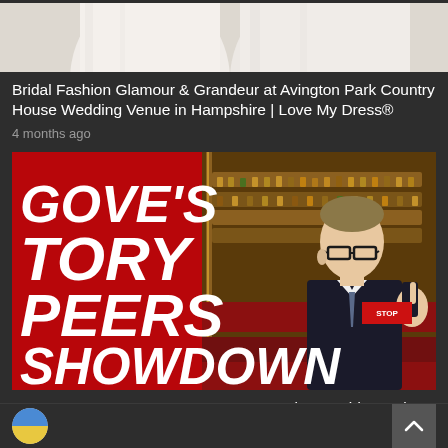[Figure (photo): Partial view of bridal/wedding dress, cropped at top of screen]
Bridal Fashion Glamour & Grandeur at Avington Park Country House Wedding Venue in Hampshire | Love My Dress®
4 months ago
[Figure (photo): News article thumbnail with red background on left showing bold white italic text 'GOVE'S TORY PEERS SHOWDOWN' and photo of Michael Gove in parliament chamber on right]
Angry Peers Suggest Gove Moves to Stoke – Guido Fawkes
4 months ago